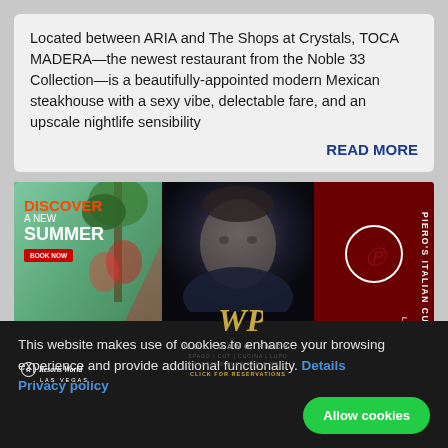Located between ARIA and The Shops at Crystals, TOCA MADERA—the newest restaurant from the Noble 33 Collection—is a beautifully-appointed modern Mexican steakhouse with a sexy vibe, delectable fare, and an upscale nightlife sensibility
READ MORE
[Figure (infographic): Three advertisement banners side by side: (1) Resorts World Las Vegas 'Discover A New Summer' with two women in red outfits against a tropical backdrop; (2) Wolfgang Puck restaurants advertisement with chef portrait and gold WP logo; (3) Piero's Italian Cuisine Las Vegas dark red advertisement with circular logo]
© ShulmanSays.com, 2012-2022 - All Rights Reserved
This website makes use of cookies to enhance your browsing experience and provide additional functionality. Details Privacy policy Allow cookies